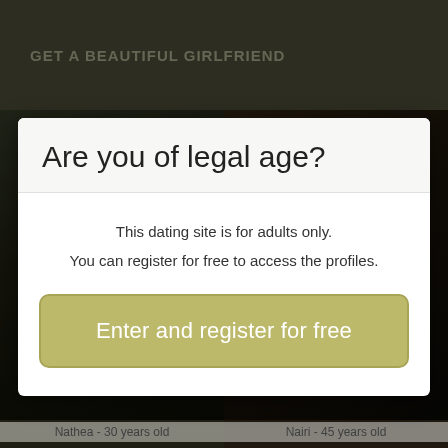GET A BEAUTIFUL GIRLFRIEND
[Figure (screenshot): Background showing two dark profile photos side by side. Left photo labeled 'Nathea - 30 years old', right photo labeled 'Nairi - 45 years old'.]
Are you of legal age?
This dating site is for adults only.
You can register for free to access the profiles.
Enter and register for free